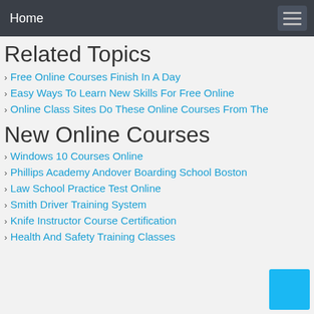Home
Related Topics
Free Online Courses Finish In A Day
Easy Ways To Learn New Skills For Free Online
Online Class Sites Do These Online Courses From The
New Online Courses
Windows 10 Courses Online
Phillips Academy Andover Boarding School Boston
Law School Practice Test Online
Smith Driver Training System
Knife Instructor Course Certification
Health And Safety Training Classes